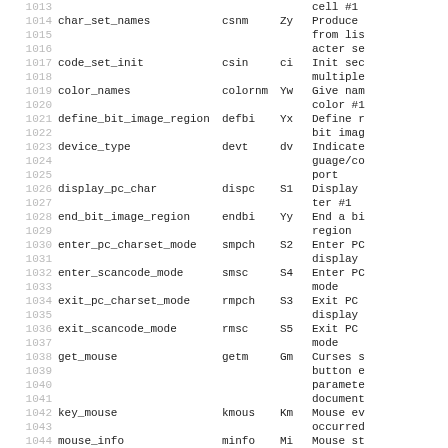| # | capability name | terminfo code | Tc | description |
| --- | --- | --- | --- | --- |
| 1013 |  |  |  | cell #1 |
| 1014 | char_set_names | csnm | Zy | Produce |
| 1015 |  |  |  | from lis |
| 1016 |  |  |  | acter se |
| 1017 | code_set_init | csin | ci | Init sec |
| 1018 |  |  |  | multiple |
| 1019 | color_names | colornm | Yw | Give nam |
| 1020 |  |  |  | color #1 |
| 1021 | define_bit_image_region | defbi | Yx | Define r |
| 1022 |  |  |  | bit imag |
| 1023 | device_type | devt | dv | Indicate |
| 1024 |  |  |  | guage/co |
| 1025 |  |  |  | port |
| 1026 | display_pc_char | dispc | S1 | Display |
| 1027 |  |  |  | ter #1 |
| 1028 | end_bit_image_region | endbi | Yy | End a bi |
| 1029 |  |  |  | region |
| 1030 | enter_pc_charset_mode | smpch | S2 | Enter PC |
| 1031 |  |  |  | display |
| 1032 | enter_scancode_mode | smsc | S4 | Enter PC |
| 1033 |  |  |  | mode |
| 1034 | exit_pc_charset_mode | rmpch | S3 | Exit PC |
| 1035 |  |  |  | display |
| 1036 | exit_scancode_mode | rmsc | S5 | Exit PC |
| 1037 |  |  |  | mode |
| 1038 | get_mouse | getm | Gm | Curses s |
| 1039 |  |  |  | button e |
| 1040 |  |  |  | paramete |
| 1041 |  |  |  | document |
| 1042 | key_mouse | kmous | Km | Mouse ev |
| 1043 |  |  |  | occurred |
| 1044 | mouse_info | minfo | Mi | Mouse st |
| 1045 |  |  |  | i fo |